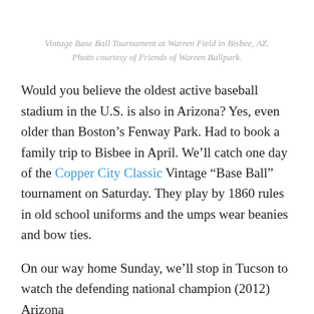Vintage Base Ball Tournament at Warren Field in Bisbee, AZ. Photo courtesy of Friends of Warren Ballpark.
Would you believe the oldest active baseball stadium in the U.S. is also in Arizona? Yes, even older than Boston’s Fenway Park. Had to book a family trip to Bisbee in April. We’ll catch one day of the Copper City Classic Vintage “Base Ball” tournament on Saturday. They play by 1860 rules in old school uniforms and the umps wear beanies and bow ties.
On our way home Sunday, we’ll stop in Tucson to watch the defending national champion (2012) Arizona